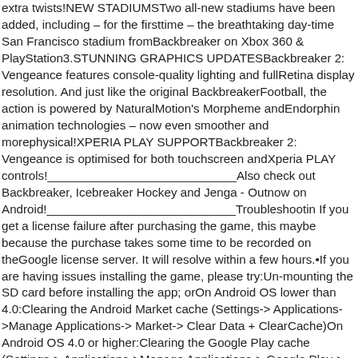extra twists!NEW STADIUMSTwo all-new stadiums have been added, including – for the firsttime – the breathtaking day-time San Francisco stadium fromBackbreaker on Xbox 360 & PlayStation3.STUNNING GRAPHICS UPDATESBackbreaker 2: Vengeance features console-quality lighting and fullRetina display resolution. And just like the original BackbreakerFootball, the action is powered by NaturalMotion's Morpheme andEndorphin animation technologies – now even smoother and morephysical!XPERIA PLAY SUPPORTBackbreaker 2: Vengeance is optimised for both touchscreen andXperia PLAY controls!____________________________Also check out Backbreaker, Icebreaker Hockey and Jenga - Outnow on Android!____________________________Troubleshooting If you get a license failure after purchasing the game, this maybe because the purchase takes some time to be recorded on theGoogle license server. It will resolve within a few hours.•If you are having issues installing the game, please try:Un-mounting the SD card before installing the app; orOn Android OS lower than 4.0:Clearing the Android Market cache (Settings-> Applications->Manage Applications-> Market-> Clear Data + ClearCache)On Android OS 4.0 or higher:Clearing the Google Play cache (Settings-> Applications->Manage Applications-> Google Play-> Clear Data + ClearCache)These will solve most issues with low memory errors andincompatible device messages.• If you encounter any serious problems, try uninstalling andro installing the